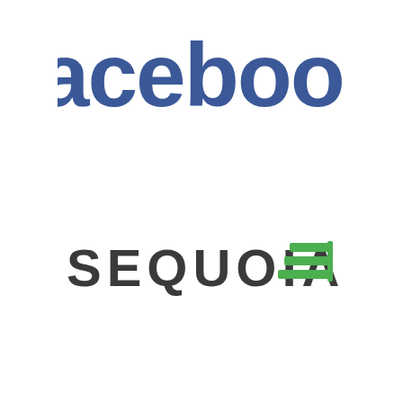[Figure (logo): Facebook logo in bold blue lowercase text]
[Figure (logo): Sequoia Capital logo with dark gray uppercase text SEQUOIA and green leaf/fern icon to the right]